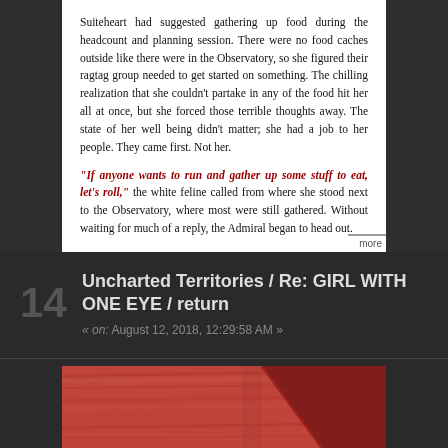Suiteheart had suggested gathering up food during the headcount and planning session. There were no food caches outside like there were in the Observatory, so she figured their ragtag group needed to get started on something. The chilling realization that she couldn't partake in any of the food hit her all at once, but she forced those terrible thoughts away. The state of her well being didn't matter; she had a job to her people. They came first. Not her.
"If anyone wants to run and gather up some stuff to eat, let's roll," the white feline called from where she stood next to the Observatory, where most were still gathered. Without waiting for much of a reply, the Admiral began to head out.
suiteheart folie-mikaelson . ecliptic admiral . the ascendants . tags
Uncharted Territories / Re: GIRL WITH ONE EYE / return
« on: August 12, 2018, 12:29:58 AM »
[Figure (photo): Close-up photo of red-painted wooden planks with a dark red diagonal stripe accent]